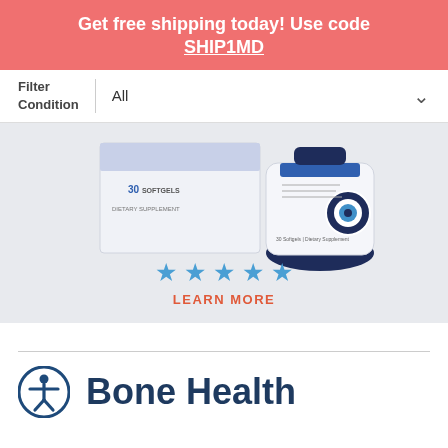Get free shipping today! Use code SHIP1MD
Filter Condition
All
[Figure (photo): Dietary supplement product bottles and box — 30 softgels, dietary supplement, with prostate health claims]
★ ★ ★ ★ ★
LEARN MORE
Bone Health